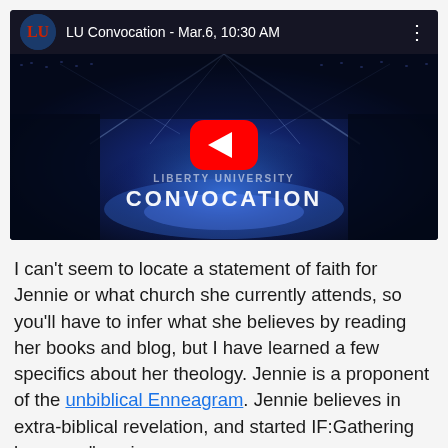[Figure (screenshot): YouTube video thumbnail for 'LU Convocation - Mar.6, 10:30 AM' showing a large arena filled with people under dramatic blue lighting with 'CONVOCATION' text and a YouTube play button overlay]
I can't seem to locate a statement of faith for Jennie or what church she currently attends, so you'll have to infer what she believes by reading her books and blog, but I have learned a few specifics about her theology. Jennie is a proponent of the unbiblical Enneagram. Jennie believes in extra-biblical revelation, and started IF:Gathering because "a voice"